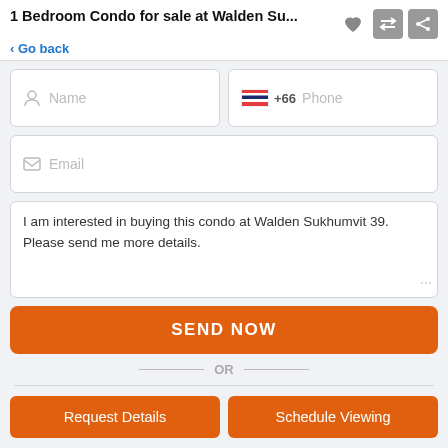1 Bedroom Condo for sale at Walden Su...
< Go back
Name
+66  Phone
Email
I am interested in buying this condo at Walden Sukhumvit 39. Please send me more details.
SEND NOW
OR
+66 (0) 2 026 8491
Request Details
Schedule Viewing